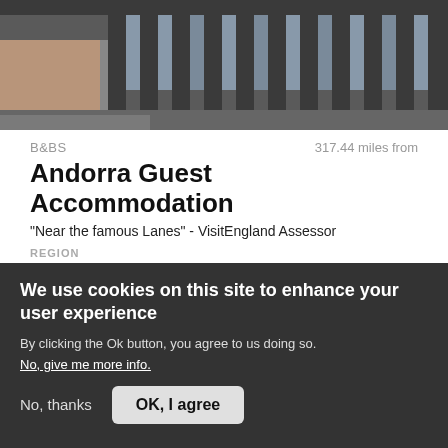[Figure (photo): Exterior photo of building facade with dark metal railings and windows, partially cropped]
B&BS	317.44 miles from
Andorra Guest Accommodation
"Near the famous Lanes" - VisitEngland Assessor
REGION
Brighton, East Sussex
OFFICIAL RATING	ASSESSED BY
★★★	VisitEngland
We use cookies on this site to enhance your user experience
By clicking the Ok button, you agree to us doing so.
No, give me more info.
No, thanks	OK, I agree